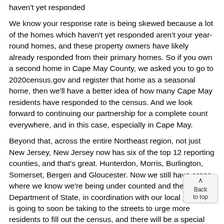haven't yet responded
We know your response rate is being skewed because a lot of the homes which haven't yet responded aren't your year-round homes, and these property owners have likely already responded from their primary homes. So if you own a second home in Cape May County, we asked you to go to 2020census.gov and register that home as a seasonal home, then we'll have a better idea of how many Cape May residents have responded to the census. And we look forward to continuing our partnership for a complete count everywhere, and in this case, especially in Cape May.
Beyond that, across the entire Northeast region, not just New Jersey, New Jersey now has six of the top 12 reporting counties, and that's great. Hunterdon, Morris, Burlington, Somerset, Bergen and Gloucester. Now we still have areas where we know we're being under counted and the Department of State, in coordination with our local partners, is going to soon be taking to the streets to urge more residents to fill out the census, and there will be a special focus for the counties and communities where we need to see more responses.
To be clear, the census is secure, it is easy and it's really important. Your information is protected by federal law from ever being used against you, and we've got your back. But this information is determining how much money we get back from Washington, family nutrition programs, to our public schools, from Social Security, to unemployment insurance compensation, and from transportation to COVID-19 relief and everything else in between.